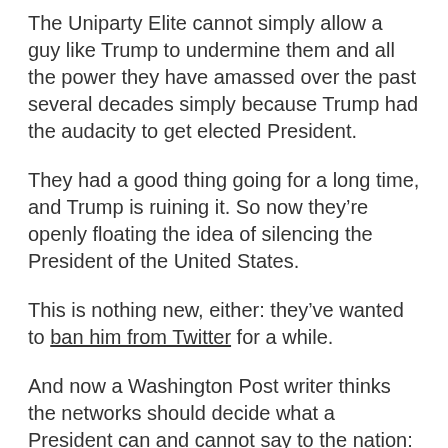The Uniparty Elite cannot simply allow a guy like Trump to undermine them and all the power they have amassed over the past several decades simply because Trump had the audacity to get elected President.
They had a good thing going for a long time, and Trump is ruining it. So now they're openly floating the idea of silencing the President of the United States.
This is nothing new, either: they've wanted to ban him from Twitter for a while.
And now a Washington Post writer thinks the networks should decide what a President can and cannot say to the nation:
“After Tuesday night’s debacle in the Oval Office, television network executives should be spending the day in their spacious offices practicing a simple word: